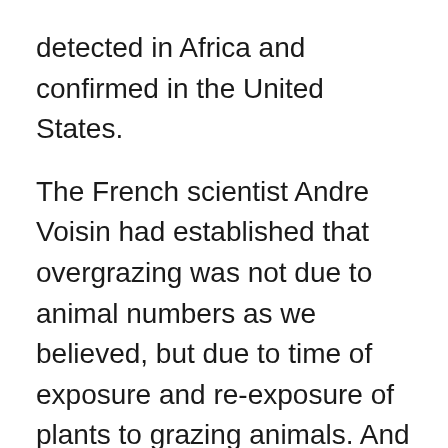detected in Africa and confirmed in the United States.
The French scientist Andre Voisin had established that overgrazing was not due to animal numbers as we believed, but due to time of exposure and re-exposure of plants to grazing animals. And he had given us a clue that some form of planning process was needed to replace historical and modern grazing practices.
This was a management and not a scientific problem – and we ecologists and biologists had never been involved in planning anything